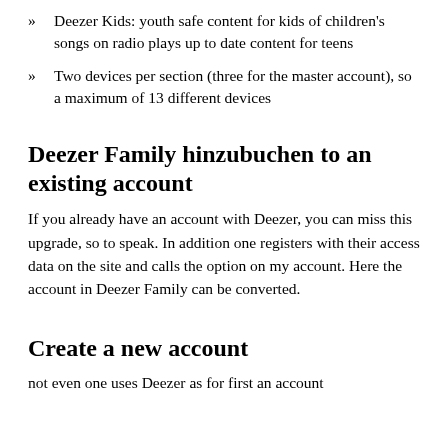Deezer Kids: youth safe content for kids of children's songs on radio plays up to date content for teens
Two devices per section (three for the master account), so a maximum of 13 different devices
Deezer Family hinzubuchen to an existing account
If you already have an account with Deezer, you can miss this upgrade, so to speak. In addition one registers with their access data on the site and calls the option on my account. Here the account in Deezer Family can be converted.
Create a new account
not even one uses Deezer as for first an account